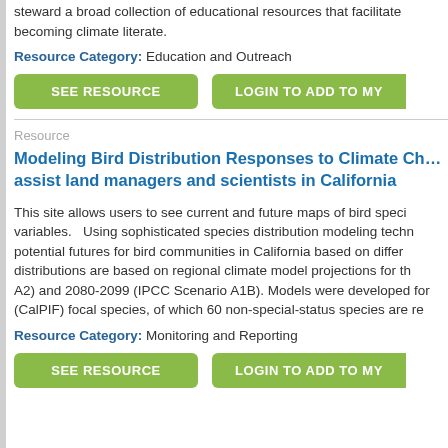steward a broad collection of educational resources that facilitate becoming climate literate.
Resource Category: Education and Outreach
SEE RESOURCE
LOGIN TO ADD TO MY
Resource
Modeling Bird Distribution Responses to Climate Ch... assist land managers and scientists in California
This site allows users to see current and future maps of bird speci... variables.   Using sophisticated species distribution modeling techn... potential futures for bird communities in California based on differ... distributions are based on regional climate model projections for th... A2) and 2080-2099 (IPCC Scenario A1B). Models were developed for... (CalPIF) focal species, of which 60 non-special-status species are re...
Resource Category: Monitoring and Reporting
SEE RESOURCE
LOGIN TO ADD TO MY